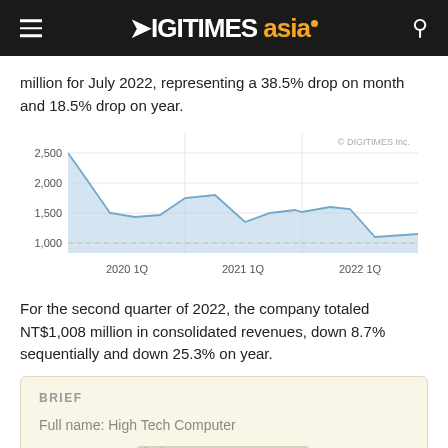DIGITIMES asia
million for July 2022, representing a 38.5% drop on month and 18.5% drop on year.
[Figure (area-chart): Area line chart showing quarterly revenue trend from 2020 1Q to 2022 1Q, with a dashed horizontal line at 1,000. Y-axis shows values 1,000 to 2,500. Copyright DIGITIMES Inc.]
For the second quarter of 2022, the company totaled NT$1,008 million in consolidated revenues, down 8.7% sequentially and down 25.3% on year.
| Field | Value |
| --- | --- |
| Full name | High Tech Computer |
| Chinese name | 宏達國際電子股份有限公司 |
| Short name | HTC |
| Arconym | HTC |
| Stock code | 2498 |